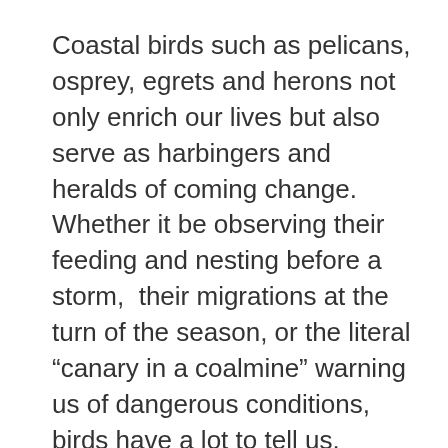Coastal birds such as pelicans, osprey, egrets and herons not only enrich our lives but also serve as harbingers and heralds of coming change. Whether it be observing their feeding and nesting before a storm, their migrations at the turn of the season, or the literal “canary in a coalmine” warning us of dangerous conditions, birds have a lot to tell us.
Now birds are telling us that changes to our climate are fraying the web of life that binds us all together. Audubon’s latest climate science tells us that two-thirds of North America’s bird species are threatened by